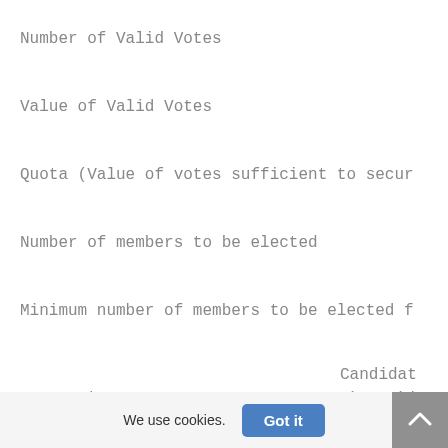Number of Valid Votes
Value of Valid Votes
Quota (Value of votes sufficient to secur
Number of members to be elected
Minimum number of members to be elected f
Candidat
Mark Daly   Diarmuid Wilson
Martin   Rebecca